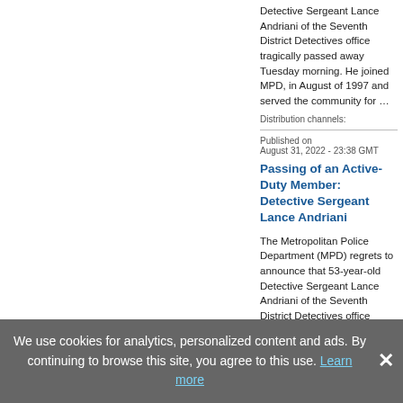Detective Sergeant Lance Andriani of the Seventh District Detectives office tragically passed away Tuesday morning. He joined MPD, in August of 1997 and served the community for …
Distribution channels:
Published on
August 31, 2022 - 23:38 GMT
Passing of an Active-Duty Member: Detective Sergeant Lance Andriani
The Metropolitan Police Department (MPD) regrets to announce that 53-year-old Detective Sergeant Lance Andriani of the Seventh District Detectives office tragically passed away Tuesday morning. He joined MPD, in August of 1997 and served the community for …
We use cookies for analytics, personalized content and ads. By continuing to browse this site, you agree to this use. Learn more